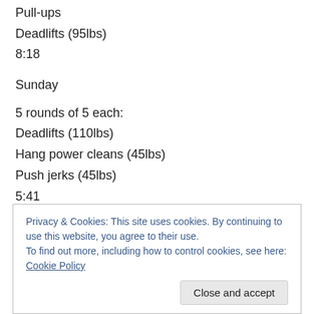Pull-ups
Deadlifts (95lbs)
8:18
Sunday
5 rounds of 5 each:
Deadlifts (110lbs)
Hang power cleans (45lbs)
Push jerks (45lbs)
5:41
Privacy & Cookies: This site uses cookies. By continuing to use this website, you agree to their use. To find out more, including how to control cookies, see here: Cookie Policy